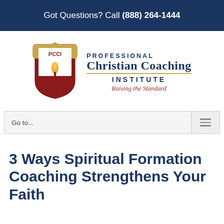Got Questions? Call (888) 264-1444
[Figure (logo): PCCI shield logo with cross, flame, and banner]
PROFESSIONAL CHRISTIAN COACHING INSTITUTE — Raising the Standard
Go to...
3 Ways Spiritual Formation Coaching Strengthens Your Faith